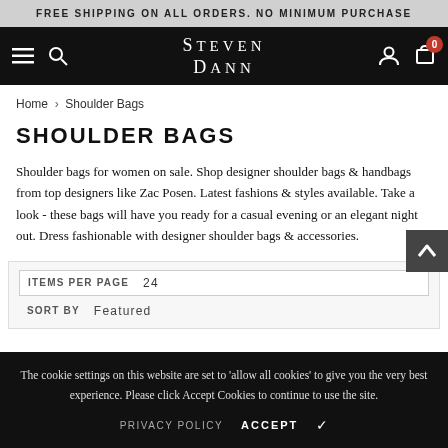FREE SHIPPING ON ALL ORDERS. NO MINIMUM PURCHASE
[Figure (screenshot): Steven Dann website navigation bar with hamburger menu, search icon, Steven Dann logo, user account icon, and shopping cart icon with badge showing 0]
Home › Shoulder Bags
SHOULDER BAGS
Shoulder bags for women on sale. Shop designer shoulder bags & handbags from top designers like Zac Posen. Latest fashions & styles available. Take a look - these bags will have you ready for a casual evening or an elegant night out. Dress fashionable with designer shoulder bags & accessories.
ITEMS PER PAGE  24
SORT BY  Featured
The cookie settings on this website are set to 'allow all cookies' to give you the very best experience. Please click Accept Cookies to continue to use the site.
PRIVACY POLICY  ACCEPT ✔